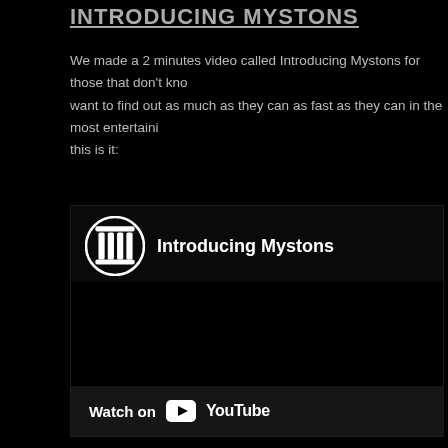INTRODUCING MYSTONS
We made a 2 minutes video called Introducing Mystons for those that don't know us and want to find out as much as they can as fast as they can in the most entertaining way possible, this is it:
[Figure (screenshot): Embedded YouTube video player showing 'Introducing Mystons' with a dark/black background, the YouTube channel icon, video title text, and a 'Watch on YouTube' bar at the bottom with the YouTube play button logo and wordmark.]